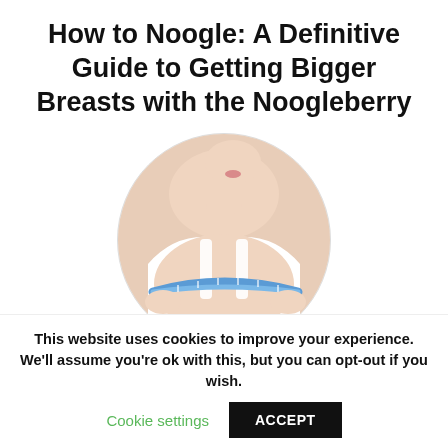How to Noogle: A Definitive Guide to Getting Bigger Breasts with the Noogleberry
[Figure (photo): Circular cropped photo of a woman in a white tank top measuring her chest with a blue tape measure]
This website uses cookies to improve your experience. We'll assume you're ok with this, but you can opt-out if you wish.
Cookie settings   ACCEPT